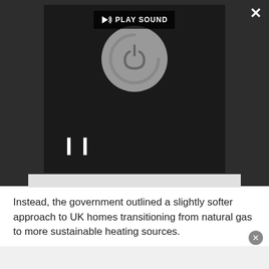[Figure (screenshot): A dark-themed audio/video player widget with a loading spinner circle, pause button (double bar), a 'PLAY SOUND' button with speaker icon, a close X button, and an expand/fullscreen icon.]
Instead, the government outlined a slightly softer approach to UK homes transitioning from natural gas to more sustainable heating sources.
To incentivise the transition to new, low-carbon systems, it announced that the Boiler Upgrade Scheme will launch in April 2022, to bring down the cost of installing heat pumps and other low-carbon...